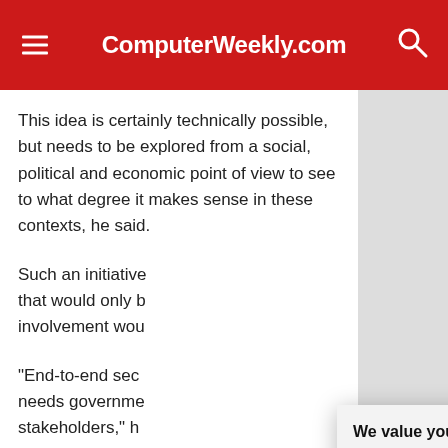ComputerWeekly.com
This idea is certainly technically possible, but needs to be explored from a social, political and economic point of view to see to what degree it makes sense in these contexts, he said.
Such an initiative [text partially obscured by modal]
"End-to-end sec[urity text partially obscured] needs governme[nt text partially obscured] stakeholders," h[e said text obscured]
Government inv[olvement text partially obscured] the US, because[text partially obscured] able to make a d[text partially obscured]
We value your privacy. TechTarget and its partners employ cookies to improve your experience on our site, to analyze traffic and performance, and to serve personalized content and advertising that are relevant to your professional interests. You can manage your settings at any time. Please view our Privacy Policy for more information